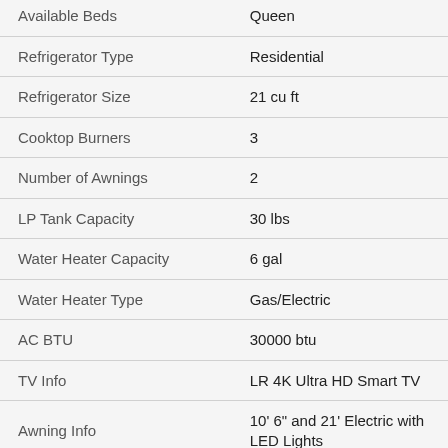| Feature | Value |
| --- | --- |
| Available Beds | Queen |
| Refrigerator Type | Residential |
| Refrigerator Size | 21 cu ft |
| Cooktop Burners | 3 |
| Number of Awnings | 2 |
| LP Tank Capacity | 30 lbs |
| Water Heater Capacity | 6 gal |
| Water Heater Type | Gas/Electric |
| AC BTU | 30000 btu |
| TV Info | LR 4K Ultra HD Smart TV |
| Awning Info | 10' 6" and 21' Electric with LED Lights |
| Axle Count | 2 |
| Washer/Dryer Available | Yes |